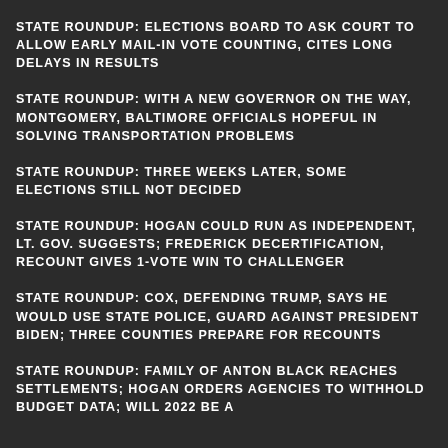STATE ROUNDUP: ELECTIONS BOARD TO ASK COURT TO ALLOW EARLY MAIL-IN VOTE COUNTING, CITES LONG DELAYS IN RESULTS
STATE ROUNDUP: WITH A NEW GOVERNOR ON THE WAY, MONTGOMERY, BALTIMORE OFFICIALS HOPEFUL IN SOLVING TRANSPORTATION PROBLEMS
STATE ROUNDUP: THREE WEEKS LATER, SOME ELECTIONS STILL NOT DECIDED
STATE ROUNDUP: HOGAN COULD RUN AS INDEPENDENT, LT. GOV. SUGGESTS; FREDERICK DECERTIFICATION, RECOUNT GIVES 1-VOTE WIN TO CHALLENGER
STATE ROUNDUP: COX, DEFENDING TRUMP, SAYS HE WOULD USE STATE POLICE, GUARD AGAINST PRESIDENT BIDEN; THREE COUNTIES PREPARE FOR RECOUNTS
STATE ROUNDUP: FAMILY OF ANTON BLACK REACHES SETTLEMENTS; HOGAN ORDERS AGENCIES TO WITHHOLD BUDGET DATA; WILL 2022 BE A…